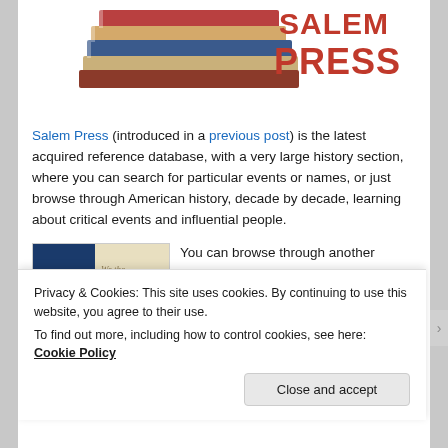[Figure (logo): Salem Press logo with stacked books image and red text reading PRESS on white background]
Salem Press (introduced in a previous post) is the latest acquired reference database, with a very large history section, where you can search for particular events or names, or just browse through American history, decade by decade, learning about critical events and influential people.
[Figure (illustration): Book cover image with dark blue square on left and handwritten 'We the People' text (Constitution reference) on right, beige/parchment background]
You can browse through another section, Milestones Documents for...
Privacy & Cookies: This site uses cookies. By continuing to use this website, you agree to their use.
To find out more, including how to control cookies, see here: Cookie Policy